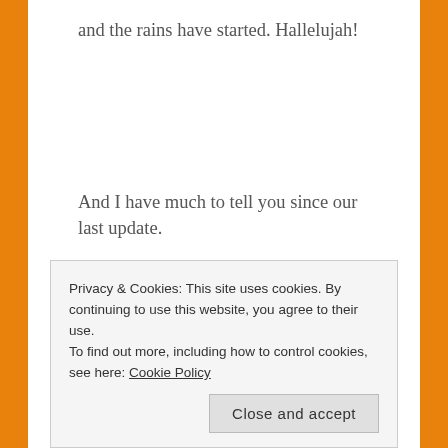and the rains have started. Hallelujah!
And I have much to tell you since our last update.
STUDIES
– I finished my master's studies coursework! I managed a 3.73 GPA, with all As and one stinking B. Don't get me started
Privacy & Cookies: This site uses cookies. By continuing to use this website, you agree to their use.
To find out more, including how to control cookies, see here: Cookie Policy
Close and accept